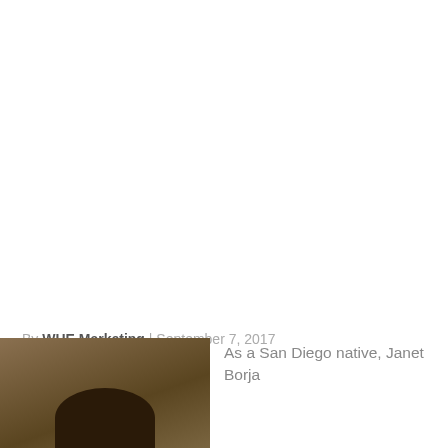By WHE Marketing | September 7, 2017
[Figure (photo): Portrait photo of Janet Borja, partially visible, showing top of head with dark hair against a warm brown/amber background.]
As a San Diego native, Janet Borja